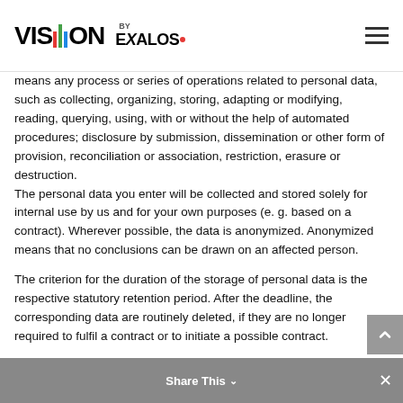VISION BY EXALOS
means any process or series of operations related to personal data, such as collecting, organizing, storing, adapting or modifying, reading, querying, using, with or without the help of automated procedures; disclosure by submission, dissemination or other form of provision, reconciliation or association, restriction, erasure or destruction.
The personal data you enter will be collected and stored solely for internal use by us and for your own purposes (e. g. based on a contract). Wherever possible, the data is anonymized. Anonymized means that no conclusions can be drawn on an affected person.
The criterion for the duration of the storage of personal data is the respective statutory retention period. After the deadline, the corresponding data are routinely deleted, if they are no longer required to fulfil a contract or to initiate a possible contract.
Personal data is collected and processed in particular in the following cases:
Share This